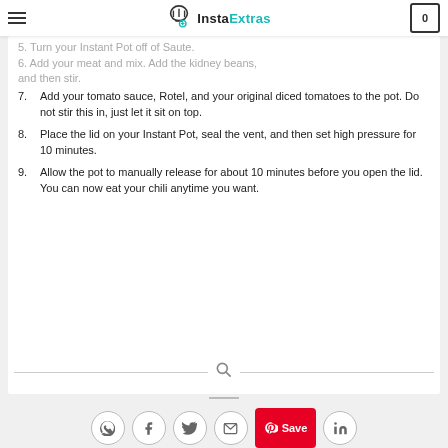InstaExtras
5. Turn your Instant Pot off of Saute.
6. Add your meat and mix. Add the kidney beans, and then stir.
7. Add your tomato sauce, Rotel, and your original diced tomatoes to the pot. Do not stir this in, just let it sit on top.
8. Place the lid on your Instant Pot, seal the vent, and then set high pressure for 10 minutes.
9. Allow the pot to manually release for about 10 minutes before you open the lid. You can now eat your chili anytime you want.
Share icons: WhatsApp, Facebook, Twitter, Email, Pinterest Save, LinkedIn